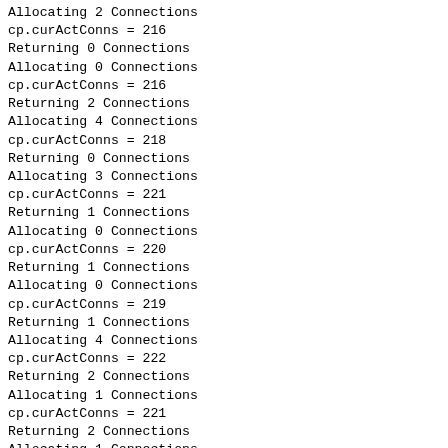Allocating 2 Connections
cp.curActConns = 216
Returning 0 Connections
Allocating 0 Connections
cp.curActConns = 216
Returning 2 Connections
Allocating 4 Connections
cp.curActConns = 218
Returning 0 Connections
Allocating 3 Connections
cp.curActConns = 221
Returning 1 Connections
Allocating 0 Connections
cp.curActConns = 220
Returning 1 Connections
Allocating 0 Connections
cp.curActConns = 219
Returning 1 Connections
Allocating 4 Connections
cp.curActConns = 222
Returning 2 Connections
Allocating 1 Connections
cp.curActConns = 221
Returning 2 Connections
Allocating 1 Connections
cp.curActConns = 220
Returning 0 Connections
Allocating 4 Connections
cp.curActConns = 224
Returning 2 Connections